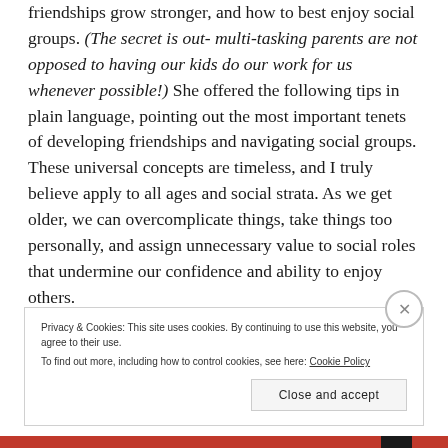friendships grow stronger, and how to best enjoy social groups.  (The secret is out- multi-tasking parents are not opposed to having our kids do our work for us whenever possible!)  She offered the following tips in plain language, pointing out the most important tenets of developing friendships and navigating social groups.  These universal concepts are timeless, and I truly believe apply to all ages and social strata.  As we get older, we can overcomplicate things, take things too personally, and assign unnecessary value to social roles that undermine our confidence and ability to enjoy others.
If you're feeling shy but would like to make new
Privacy & Cookies: This site uses cookies. By continuing to use this website, you agree to their use. To find out more, including how to control cookies, see here: Cookie Policy